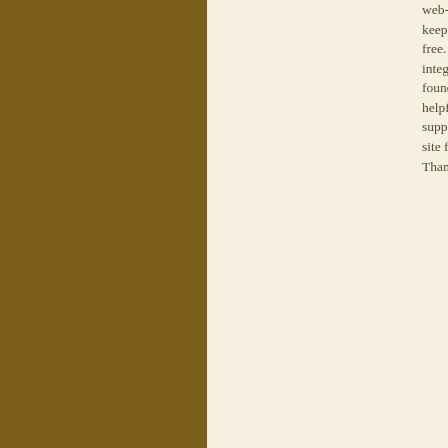web-site. It's also how we keep our site 100% banner free. This does not affect the integrity of the review. If you found our site or this review helpful, we hope you'll support TBP by visiting this site from our link above. Thank you.
Tool:
These are a together bec big pluses. U which expla they've buil browsing ar is a model i navigation. in fact neces we're dealin
Other Good
Galle with t it was
Clear poste
These disco make stand
Memb on a